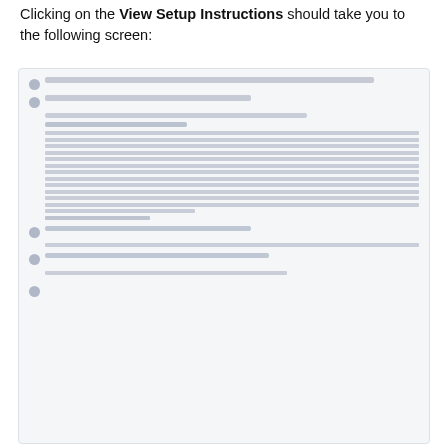Clicking on the View Setup Instructions should take you to the following screen:
[Figure (screenshot): Screenshot of a setup instructions screen showing numbered steps with icons, indented blocks of text content, labels, paragraph text, and sub-items. Content is rendered in a light gray/blue washed-out style indicating it is a UI screenshot.]